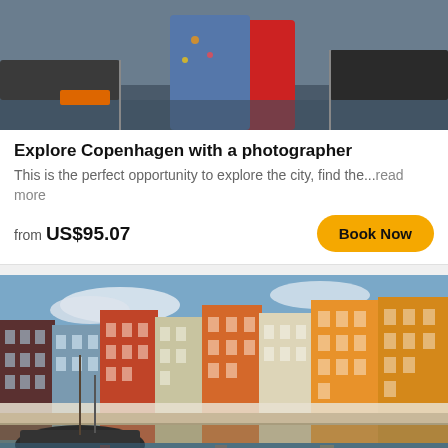[Figure (photo): Two women at a waterfront harbor, one in a floral denim jacket and one in red, with boats in the background.]
Explore Copenhagen with a photographer
This is the perfect opportunity to explore the city, find the...read more
from US$95.07
[Figure (photo): Nyhavn canal in Copenhagen with colorful buildings, boats docked along the waterfront, and crowds of people sitting along the pier.]
Grand Panoramic Private Tour in Copenhagen